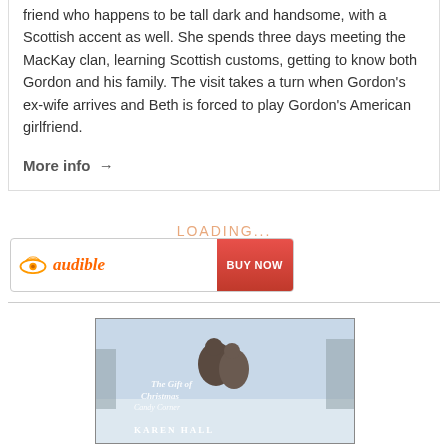friend who happens to be tall dark and handsome, with a Scottish accent as well. She spends three days meeting the MacKay clan, learning Scottish customs, getting to know both Gordon and his family. The visit takes a turn when Gordon's ex-wife arrives and Beth is forced to play Gordon's American girlfriend.
More info →
LOADING...
[Figure (logo): Audible logo with orange eye/wave symbol and 'audible' wordmark, with a red BUY NOW button on the right]
[Figure (photo): Book cover showing a couple in winter scene with text 'The Gift of Christmas Candy Corner Karen Hall']